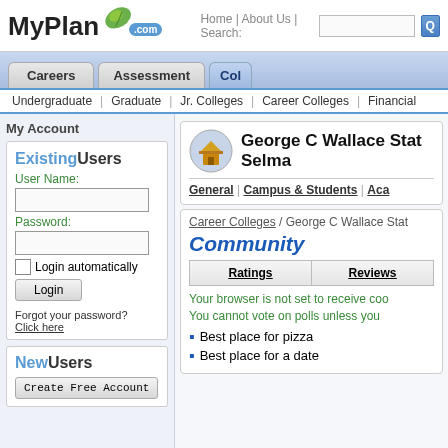[Figure (screenshot): MyPlan.com logo with green leaf and blue .com badge]
Home | About Us | Search:
Careers | Assessment | Col
Undergraduate | Graduate | Jr. Colleges | Career Colleges | Financial
My Account
ExistingUsers
User Name:
Password:
Login automatically
Forgot your password?
Click here
NewUsers
Create Free Account
George C Wallace State Community College - Selma
General | Campus & Students | Aca
Career Colleges / George C Wallace Stat
Community
| Ratings | Reviews |
| --- | --- |
Your browser is not set to receive coo
You cannot vote on polls unless you
Best place for pizza
Best place for a date